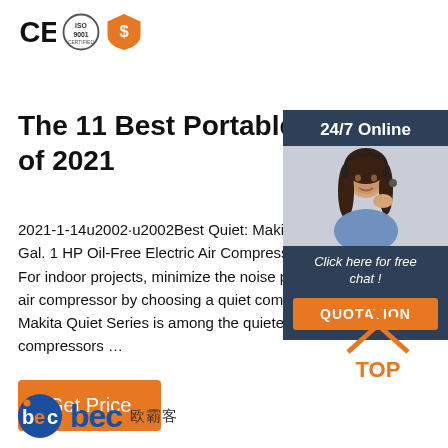[Figure (logo): CE mark, ISO 9001 certification circle, and orange dollar badge/shield logos in top-left]
The 11 Best Portable Air Compressors of 2021
2021-1-14u2002·u2002Best Quiet: Makita Q Gal. 1 HP Oil-Free Electric Air Compressor, M For indoor projects, minimize the noise produced by your air compressor by choosing a quiet compressor. The Makita Quiet Series is among the quietest portable compressors …
[Figure (infographic): 24/7 Online customer service panel on right side with woman wearing headset, 'Click here for free chat!' text, and orange QUOTATION button]
[Figure (logo): Orange TOP icon with dots above text in bottom-right area]
[Figure (logo): BEC logo with blue circular b-e-c letters and Chinese characters 欧霸客 at bottom-left]